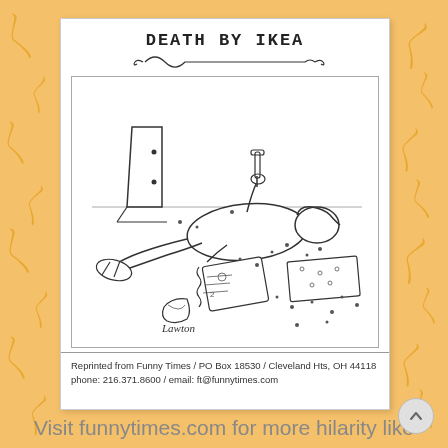DEATH BY IKEA
[Figure (illustration): Cartoon illustration of a person lying on the floor surrounded by IKEA furniture parts, screws and bolts scattered around, holding an allen wrench, with a furniture panel propped up nearby and instruction manual open beside them. Artist signature 'Lawton' at bottom left.]
Reprinted from Funny Times / PO Box 18530 / Cleveland Hts, OH 44118
phone: 216.371.8600 / email: ft@funnytimes.com
Visit funnytimes.com for more hilarity like